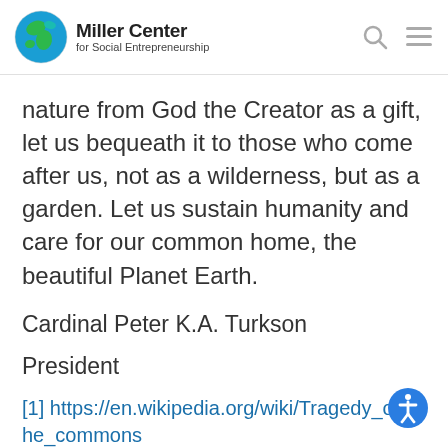Miller Center for Social Entrepreneurship
nature from God the Creator as a gift, let us bequeath it to those who come after us, not as a wilderness, but as a garden. Let us sustain humanity and care for our common home, the beautiful Planet Earth.
Cardinal Peter K.A. Turkson
President
[1] https://en.wikipedia.org/wiki/Tragedy_of_the_commons